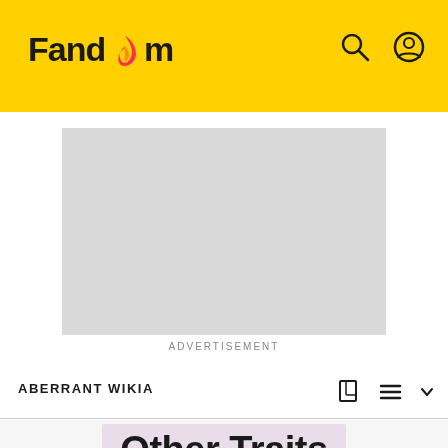Fandom
[Figure (other): Gray advertisement placeholder rectangle]
ADVERTISEMENT
ABERRANT WIKIA
Other Traits